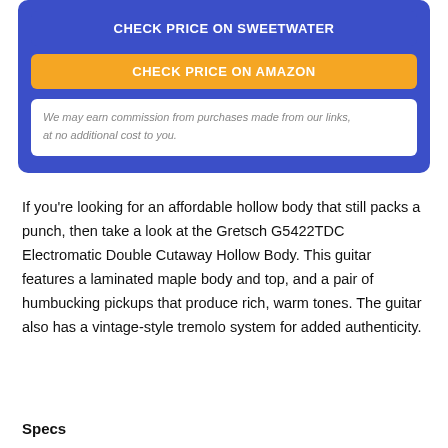CHECK PRICE ON SWEETWATER
CHECK PRICE ON AMAZON
We may earn commission from purchases made from our links, at no additional cost to you.
If you're looking for an affordable hollow body that still packs a punch, then take a look at the Gretsch G5422TDC Electromatic Double Cutaway Hollow Body. This guitar features a laminated maple body and top, and a pair of humbucking pickups that produce rich, warm tones. The guitar also has a vintage-style tremolo system for added authenticity.
Specs